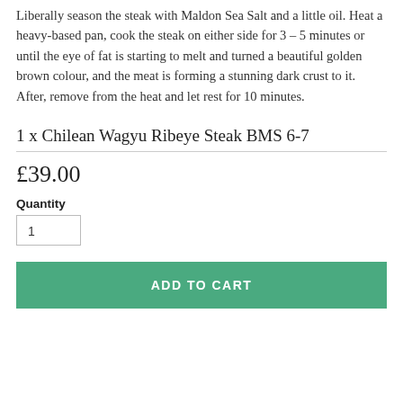Liberally season the steak with Maldon Sea Salt and a little oil. Heat a heavy-based pan, cook the steak on either side for 3 – 5 minutes or until the eye of fat is starting to melt and turned a beautiful golden brown colour, and the meat is forming a stunning dark crust to it. After, remove from the heat and let rest for 10 minutes.
1 x Chilean Wagyu Ribeye Steak BMS 6-7
£39.00
Quantity
1
ADD TO CART